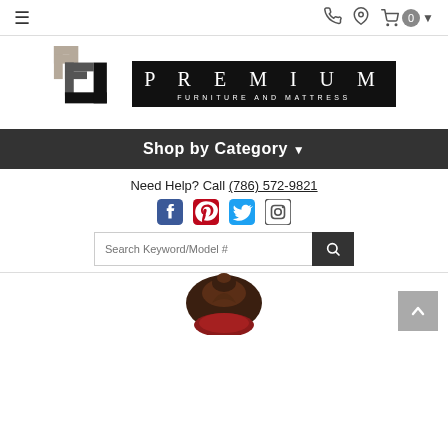Navigation bar with hamburger menu, phone icon, location icon, cart icon showing 0 items
[Figure (logo): Premium Furniture and Mattress logo with stylized PF monogram in taupe/gray and black, and PREMIUM FURNITURE AND MATTRESS text in a black box]
Shop by Category ▾
Need Help? Call (786) 572-9821
[Figure (infographic): Social media icons: Facebook (dark blue), Pinterest (red), Twitter (light blue), Instagram (outline)]
[Figure (other): Search bar with placeholder 'Search Keyword/Model #' and dark search button with magnifying glass icon]
[Figure (photo): Partial product image showing the top of a dark brown ornate furniture piece (chair or headboard) at the bottom of the page]